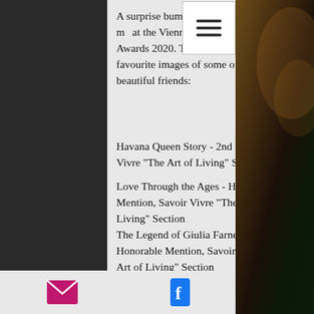A surprise bumper catch of Awards for me at the Vienna International Photo Awards 2020. These are some of my favourite images of some of my most beautiful friends:
Havana Queen Story - 2nd Place, Savoir Vivre "The Art of Living" Section
Love Through the Ages - Honorable Mention, Savoir Vivre "The Art of Living" Section
The Legend of Giulia Farnese - Honorable Mention, Savoir Vivre "The Art of Living" Section
A little bit of Bruce - Honorable Mention, Black and White Section
[Figure (photo): Dark blurred photograph visible on the right side of the page]